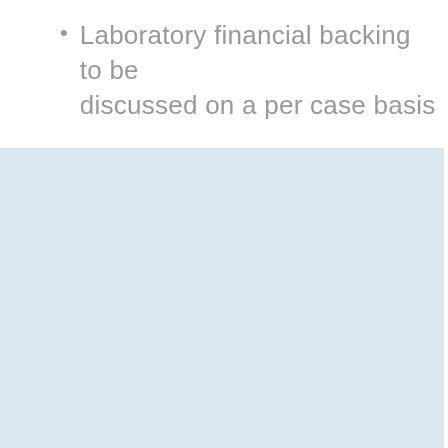Laboratory financial backing to be discussed on a per case basis
[Figure (other): Light blue rectangular background block filling the lower portion of the page]